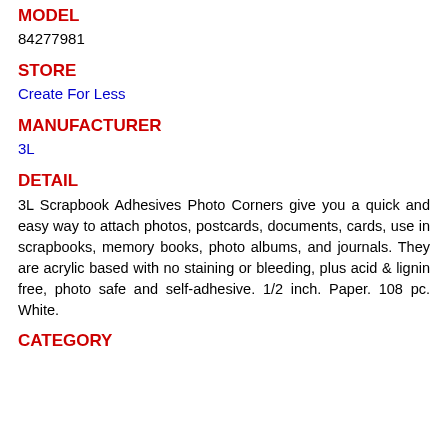MODEL
84277981
STORE
Create For Less
MANUFACTURER
3L
DETAIL
3L Scrapbook Adhesives Photo Corners give you a quick and easy way to attach photos, postcards, documents, cards, use in scrapbooks, memory books, photo albums, and journals. They are acrylic based with no staining or bleeding, plus acid & lignin free, photo safe and self-adhesive. 1/2 inch. Paper. 108 pc. White.
CATEGORY